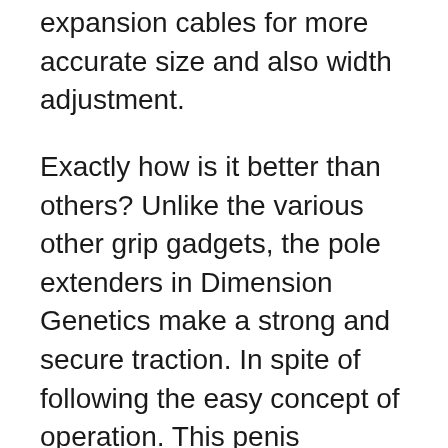expansion cables for more accurate size and also width adjustment.
Exactly how is it better than others? Unlike the various other grip gadgets, the pole extenders in Dimension Genetics make a strong and secure traction. In spite of following the easy concept of operation. This penis enlarger is very effective, as the constant grip is implemented on the cells of penis, allowing the stimulation of cellular division and assisting the tissues to expand. Customers of Dimension Genes have validated the outstanding healing results. They have additionally validated that it not just enhances the size and girth however likewise changes the curvature of your penis.